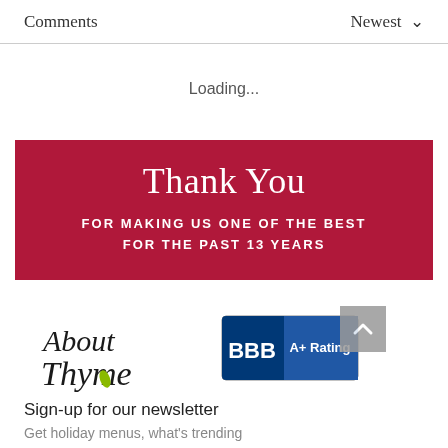Comments    Newest
Loading...
[Figure (infographic): Dark red/crimson banner with white text: 'Thank You' in large serif font, and below in smaller caps: 'FOR MAKING US ONE OF THE BEST FOR THE PAST 13 YEARS']
[Figure (logo): About Thyme logo in decorative serif font with a green leaf accent on the letter 'y']
[Figure (logo): BBB A+ Rating badge: blue shield with BBB text and 'A+ Rating' label]
Sign-up for our newsletter
Get holiday menus, what's trending